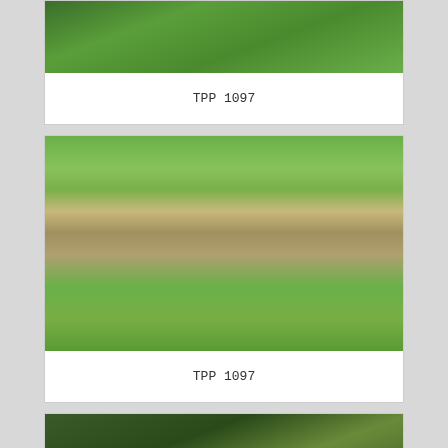[Figure (photo): Close-up photo of green fern fronds, partial view at top of page]
TPP 1097
[Figure (photo): Overhead photo of a large spider (huntsman or similar) among fern fronds and leaf litter on sandy ground. Spider is brown with legs spread wide.]
TPP 1097
[Figure (photo): Partial photo at bottom showing dark green fern and plant foliage, cropped]